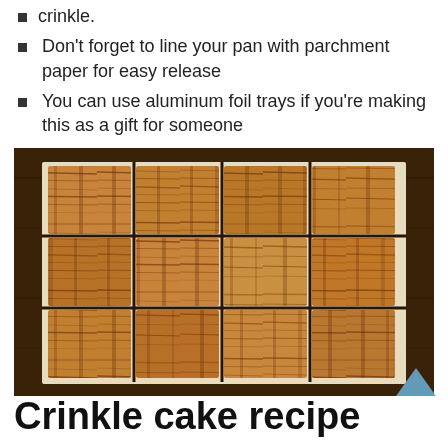crinkle.
Don't forget to line your pan with parchment paper for easy release
You can use aluminum foil trays if you're making this as a gift for someone
[Figure (photo): Overhead photo of crinkle cake cut into rectangular pieces arranged on a dark wooden board, showing golden-brown layered flaky pastry texture]
Crinkle cake recipe